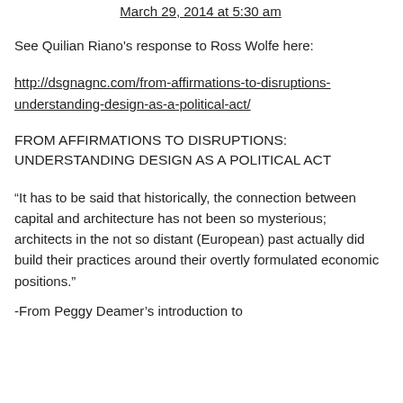March 29, 2014 at 5:30 am
See Quilian Riano's response to Ross Wolfe here:
http://dsgnagnc.com/from-affirmations-to-disruptions-understanding-design-as-a-political-act/
FROM AFFIRMATIONS TO DISRUPTIONS: UNDERSTANDING DESIGN AS A POLITICAL ACT
“It has to be said that historically, the connection between capital and architecture has not been so mysterious; architects in the not so distant (European) past actually did build their practices around their overtly formulated economic positions.”
-From Peggy Deamer’s introduction to